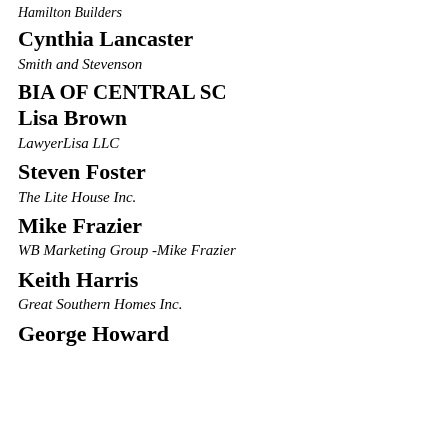Hamilton Builders
Cynthia Lancaster
Smith and Stevenson
BIA OF CENTRAL SC
Lisa Brown
LawyerLisa LLC
Steven Foster
The Lite House Inc.
Mike Frazier
WB Marketing Group -Mike Frazier
Keith Harris
Great Southern Homes Inc.
George Howard